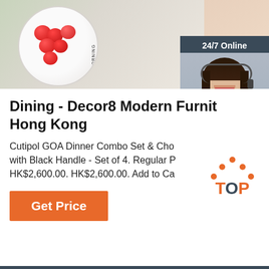[Figure (photo): Hero image of a person holding a white plate with tomatoes and 'GOOD MORNING' text, with a 24/7 online chat widget overlay on the right showing a female customer service agent with headset]
Dining - Decor8 Modern Furnit Hong Kong
Cutipol GOA Dinner Combo Set & Cho with Black Handle - Set of 4. Regular HK$2,600.00. HK$2,600.00. Add to Ca
[Figure (other): Get Price orange button]
[Figure (logo): TOP logo with orange dots above text, orange T and P with dark O]